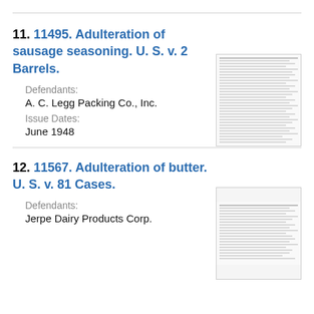11. 11495. Adulteration of sausage seasoning. U. S. v. 2 Barrels.
Defendants:
A. C. Legg Packing Co., Inc.
Issue Dates:
June 1948
[Figure (screenshot): Thumbnail image of a document page with dense small text]
12. 11567. Adulteration of butter. U. S. v. 81 Cases.
Defendants:
Jerpe Dairy Products Corp.
[Figure (screenshot): Thumbnail image of a document page with dense small text]